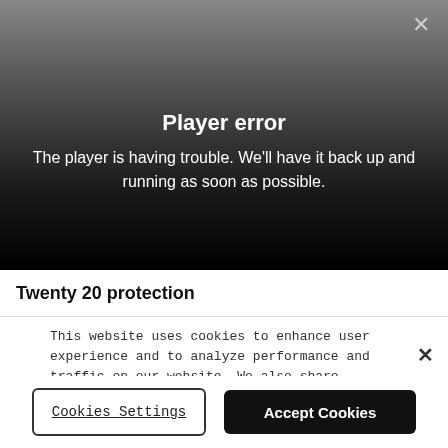[Figure (screenshot): Video player error screen with dark gradient background showing 'Player error' message]
Player error
The player is having trouble. We'll have it back up and running as soon as possible.
Twenty 20 protection
This website uses cookies to enhance user experience and to analyze performance and traffic on our website. We also share information about your use of our site with our social media, advertising and analytics partners.
Cookies Settings
Accept Cookies